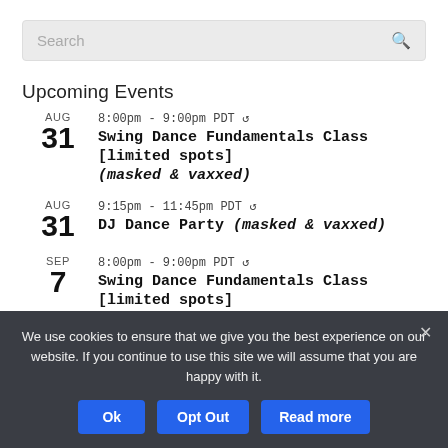Search
Upcoming Events
AUG 31 | 8:00pm - 9:00pm PDT | Swing Dance Fundamentals Class [limited spots] (masked & vaxxed)
AUG 31 | 9:15pm - 11:45pm PDT | DJ Dance Party (masked & vaxxed)
SEP 7 | 8:00pm - 9:00pm PDT | Swing Dance Fundamentals Class [limited spots]
We use cookies to ensure that we give you the best experience on our website. If you continue to use this site we will assume that you are happy with it.